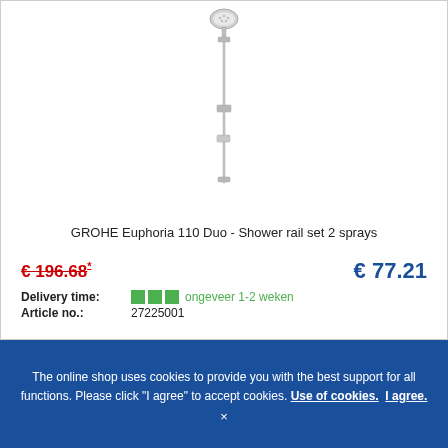[Figure (photo): Product photo of GROHE Euphoria 110 Duo shower rail set — a tall vertical chrome rail with a handheld showerhead at the top and a soap dish holder partway down.]
GROHE Euphoria 110 Duo - Shower rail set 2 sprays
€ 196.68* (strikethrough old price)   € 77.21 (new price in blue)
Delivery time: ■■■ ongeveer 1-2 weken
Article no.: 27225001
The online shop uses cookies to provide you with the best support for all functions. Please click "I agree" to accept cookies. Use of cookies. I agree. ×